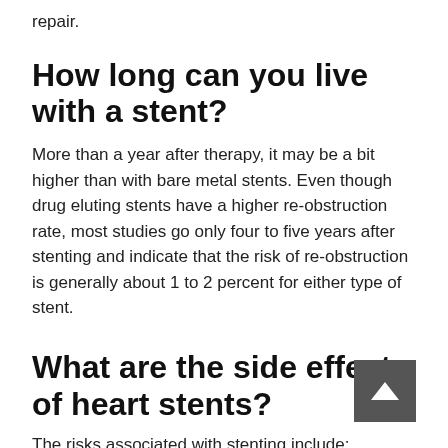repair.
How long can you live with a stent?
More than a year after therapy, it may be a bit higher than with bare metal stents. Even though drug eluting stents have a higher re-obstruction rate, most studies go only four to five years after stenting and indicate that the risk of re-obstruction is generally about 1 to 2 percent for either type of stent.
What are the side effects of heart stents?
The risks associated with stenting include: